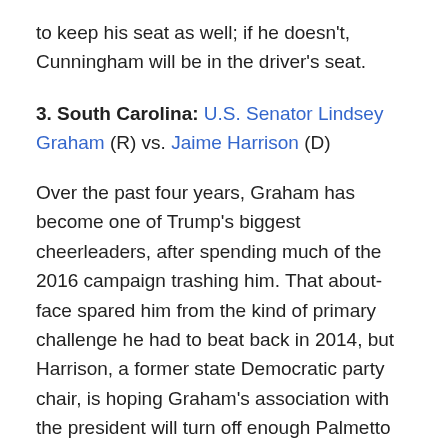to keep his seat as well; if he doesn't, Cunningham will be in the driver's seat.
3. South Carolina: U.S. Senator Lindsey Graham (R) vs. Jaime Harrison (D)
Over the past four years, Graham has become one of Trump's biggest cheerleaders, after spending much of the 2016 campaign trashing him. That about-face spared him from the kind of primary challenge he had to beat back in 2014, but Harrison, a former state Democratic party chair, is hoping Graham's association with the president will turn off enough Palmetto State voters to put him over the top. Harrison has raised a staggering $30 million — an unheard of sum for a Democrat in South Carolina — to stay even with the incumbent in the money chase. While polling shows the race is competitive, Trump is expected